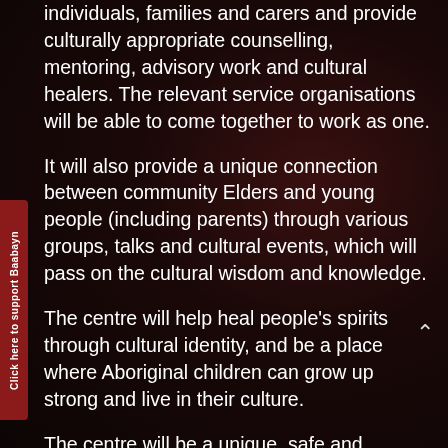individuals, families and carers and provide culturally appropriate counselling, mentoring, advisory work and cultural healers. The relevant service organisations will be able to come together to work as one.
It will also provide a unique connection between community Elders and young people (including parents) through various groups, talks and cultural events, which will pass on the cultural wisdom and knowledge.
The centre will help heal people’s spirits through cultural identity, and be a place where Aboriginal children can grow up strong and live in their culture.
The centre will be a unique, safe and